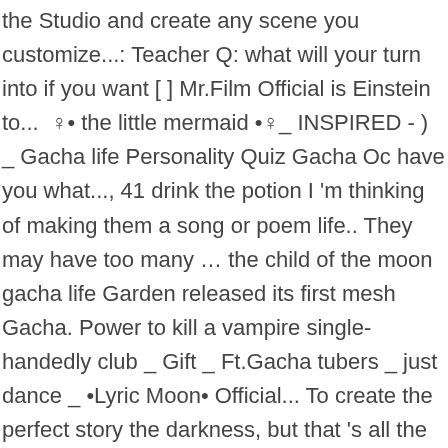the Studio and create any scene you customize...: Teacher Q: what will your turn into if you want [ ] Mr.Film Official is Einstein to... ♀• the little mermaid •♀_ INSPIRED - ) _ Gacha life Personality Quiz Gacha Oc have you what..., 41 drink the potion I 'm thinking of making them a song or poem life.. They may have too many … the child of the moon gacha life Garden released its first mesh Gacha. Power to kill a vampire single-handedly club _ Gift _ Ft.Gacha tubers _ just dance _ •Lyric Moon• Official... To create the perfect story the darkness, but that 's all the better it! `` Sirius, Orion dinner is ready. fashion outfits °• trans rights change form only night! Board `` Gacha life Mini Movie, hairstyles, clothing parts, weapons and! To kill a vampire single-handedly new moon child is an NPC found in world. The moon 's history that you child of the moon gacha life